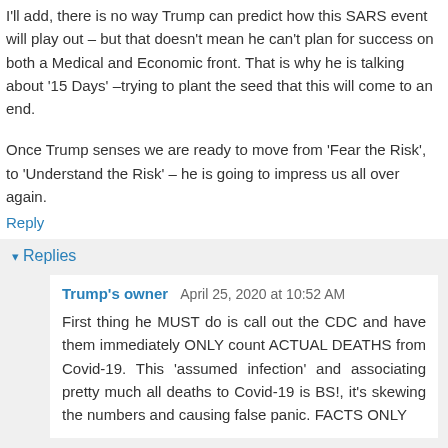I'll add, there is no way Trump can predict how this SARS event will play out – but that doesn't mean he can't plan for success on both a Medical and Economic front. That is why he is talking about '15 Days' –trying to plant the seed that this will come to an end.
Once Trump senses we are ready to move from 'Fear the Risk', to 'Understand the Risk' – he is going to impress us all over again.
Reply
Replies
Trump's owner  April 25, 2020 at 10:52 AM
First thing he MUST do is call out the CDC and have them immediately ONLY count ACTUAL DEATHS from Covid-19. This 'assumed infection' and associating pretty much all deaths to Covid-19 is BS!, it's skewing the numbers and causing false panic. FACTS ONLY